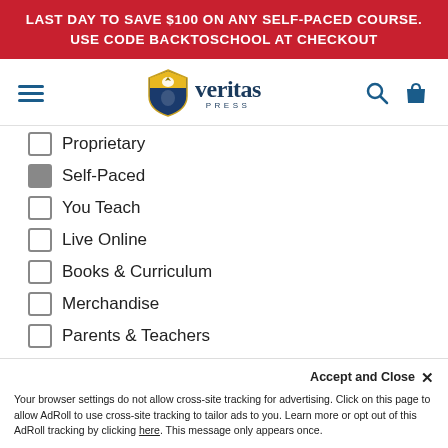LAST DAY TO SAVE $100 ON ANY SELF-PACED COURSE. USE CODE BACKTOSCHOOL AT CHECKOUT
[Figure (logo): Veritas Press logo with shield and eagle, hamburger menu icon, search icon, and shopping bag icon in navigation bar]
Proprietary (unchecked checkbox)
Self-Paced (checked checkbox)
You Teach (unchecked checkbox)
Live Online (unchecked checkbox)
Books & Curriculum (unchecked checkbox)
Merchandise (unchecked checkbox)
Parents & Teachers (unchecked checkbox, partially visible)
Accept and Close ×
Your browser settings do not allow cross-site tracking for advertising. Click on this page to allow AdRoll to use cross-site tracking to tailor ads to you. Learn more or opt out of this AdRoll tracking by clicking here. This message only appears once.